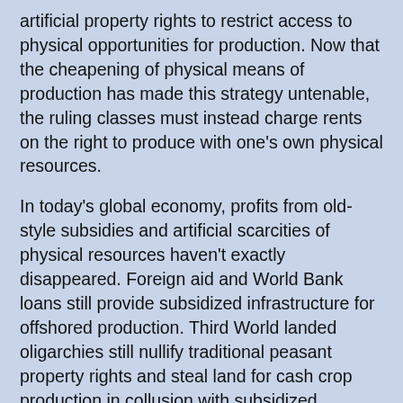artificial property rights to restrict access to physical opportunities for production. Now that the cheapening of physical means of production has made this strategy untenable, the ruling classes must instead charge rents on the right to produce with one's own physical resources.
In today's global economy, profits from old-style subsidies and artificial scarcities of physical resources haven't exactly disappeared. Foreign aid and World Bank loans still provide subsidized infrastructure for offshored production. Third World landed oligarchies still nullify traditional peasant property rights and steal land for cash crop production in collusion with subsidized Western agribusiness interests. Thanks to compliant local governments, and the use of World Bank debt slavery to pressure the noncompliant — not to mention legacy titles from outright theft in colonial days — extractive industries make enormous profits mining and logging on ill-gotten land. Half of Big Pharma's R&D is taxpayer funded, and billions of dollars of high-tech R&D is subsidized with refundable tax credits.
But most profits come from immaterial property in the right to